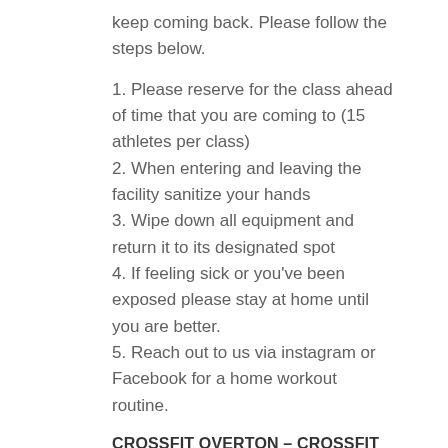keep coming back. Please follow the steps below.
1. Please reserve for the class ahead of time that you are coming to (15 athletes per class)
2. When entering and leaving the facility sanitize your hands
3. Wipe down all equipment and return it to its designated spot
4. If feeling sick or you've been exposed please stay at home until you are better.
5. Reach out to us via instagram or Facebook for a home workout routine.
CROSSFIT OVERTON – CROSSFIT